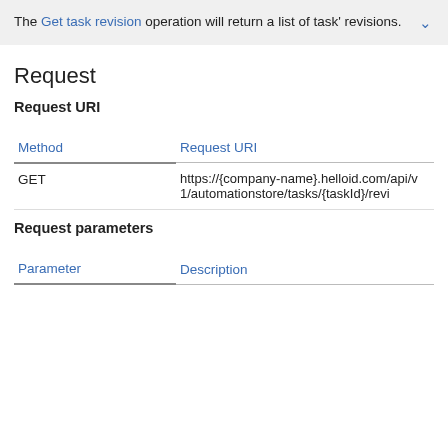The Get task revision operation will return a list of task' revisions.
Request
Request URI
| Method | Request URI |
| --- | --- |
| GET | https://{company-name}.helloid.com/api/v1/automationstore/tasks/{taskId}/revi |
Request parameters
| Parameter | Description |
| --- | --- |